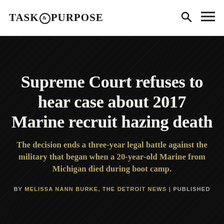TASK & PURPOSE
Supreme Court refuses to hear case about 2017 Marine recruit hazing death
The decision ends a three-year legal battle against the military that began when a 20-year-old Marine from Michigan died during boot camp.
BY MELISSA NANN BURKE, THE DETROIT NEWS | PUBLISHED